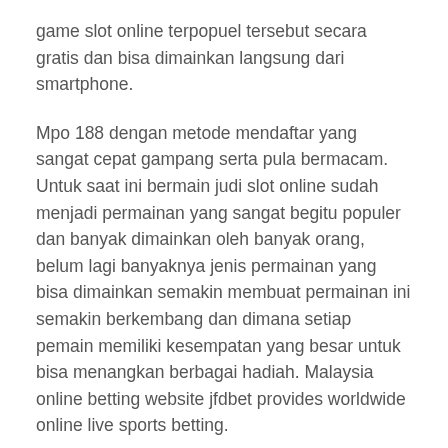game slot online terpopuel tersebut secara gratis dan bisa dimainkan langsung dari smartphone.
Mpo 188 dengan metode mendaftar yang sangat cepat gampang serta pula bermacam. Untuk saat ini bermain judi slot online sudah menjadi permainan yang sangat begitu populer dan banyak dimainkan oleh banyak orang, belum lagi banyaknya jenis permainan yang bisa dimainkan semakin membuat permainan ini semakin berkembang dan dimana setiap pemain memiliki kesempatan yang besar untuk bisa menangkan berbagai hadiah. Malaysia online betting website jfdbet provides worldwide online live sports betting.
Master slot adalah salah satu penyedia permainan casino salah satunya situs game slot online terbaik dan terpercaya yang sudah resmi di kenal di internet dan mempunyai lisensi terpercaya. Dalam